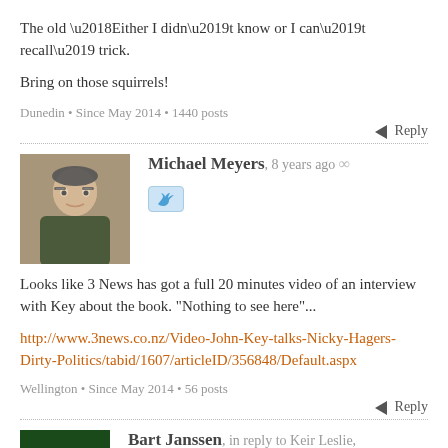The old ‘Either I didn’t know or I can’t recall’ trick.
Bring on those squirrels!
Dunedin • Since May 2014 • 1440 posts
Reply
Michael Meyers, 8 years ago ∞
Looks like 3 News has got a full 20 minutes video of an interview with Key about the book. “Nothing to see here”…
http://www.3news.co.nz/Video-John-Key-talks-Nicky-Hagers-Dirty-Politics/tabid/1607/articleID/356848/Default.aspx
Wellington • Since May 2014 • 56 posts
Reply
Bart Janssen, in reply to Keir Leslie, 8 years ago ∞